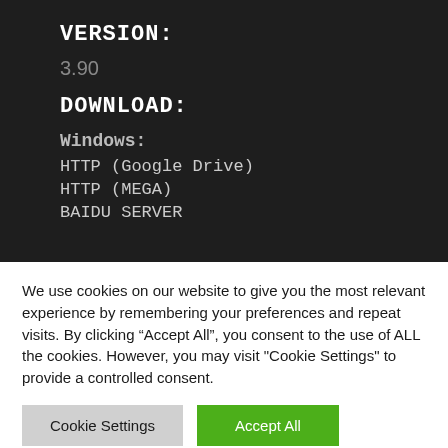VERSION:
3.90
DOWNLOAD:
Windows:
HTTP (Google Drive)
HTTP (MEGA)
BAIDU SERVER
We use cookies on our website to give you the most relevant experience by remembering your preferences and repeat visits. By clicking “Accept All”, you consent to the use of ALL the cookies. However, you may visit "Cookie Settings" to provide a controlled consent.
Cookie Settings | Accept All